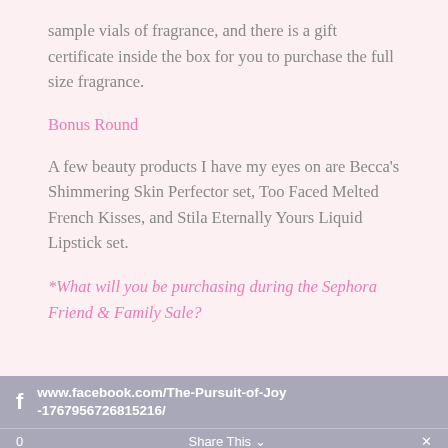sample vials of fragrance, and there is a gift certificate inside the box for you to purchase the full size fragrance.
Bonus Round
A few beauty products I have my eyes on are Becca's Shimmering Skin Perfector set, Too Faced Melted French Kisses, and Stila Eternally Yours Liquid Lipstick set.
*What will you be purchasing during the Sephora Friend & Family Sale?
f www.facebook.com/The-Pursuit-of-Joy-1767956726815216/ 0 Share This ✓ ×